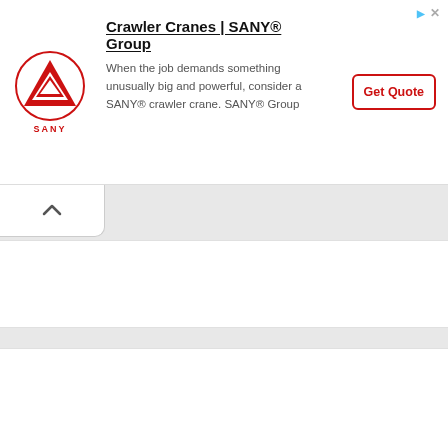[Figure (screenshot): SANY Group advertisement banner. Contains SANY logo (red triangle with A shape), title 'Crawler Cranes | SANY® Group', description text 'When the job demands something unusually big and powerful, consider a SANY® crawler crane. SANY® Group', and a 'Get Quote' button with red border. Small ad attribution icons (arrow and X) in top right corner.]
[Figure (screenshot): Collapse/expand chevron button (upward caret) on white background below the ad banner]
[Figure (screenshot): White content card area (empty/loading)]
[Figure (screenshot): Larger white content card area (empty/loading)]
[Figure (screenshot): Bottom white content card area (empty/loading, partially visible)]